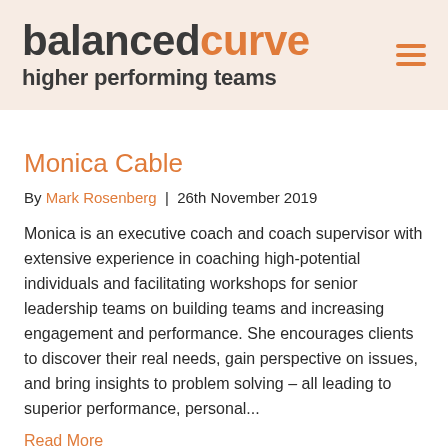balancedcurve higher performing teams
Monica Cable
By Mark Rosenberg | 26th November 2019
Monica is an executive coach and coach supervisor with extensive experience in coaching high-potential individuals and facilitating workshops for senior leadership teams on building teams and increasing engagement and performance. She encourages clients to discover their real needs, gain perspective on issues, and bring insights to problem solving – all leading to superior performance, personal...
Read More